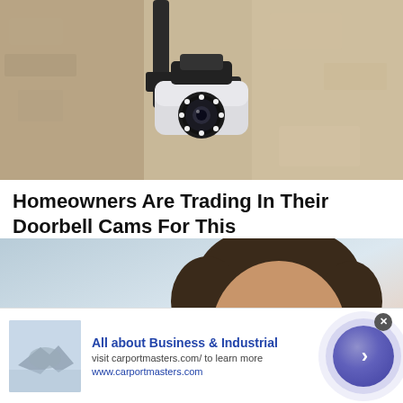[Figure (photo): A security camera mounted on a textured stone or stucco wall, viewed from below. The camera is white/silver with a circular lens ring and black mounting bracket.]
Homeowners Are Trading In Their Doorbell Cams For This
Camerca | Sponsored
Learn More
[Figure (photo): A smiling middle-aged man with short dark hair, photographed outdoors against a light blue and warm gradient sky background. He appears to be holding a dark microphone or device.]
[Figure (photo): Advertisement banner showing two people shaking hands in a business setting. Text: All about Business & Industrial. visit carportmasters.com/ to learn more. www.carportmasters.com]
All about Business & Industrial
visit carportmasters.com/ to learn more
www.carportmasters.com